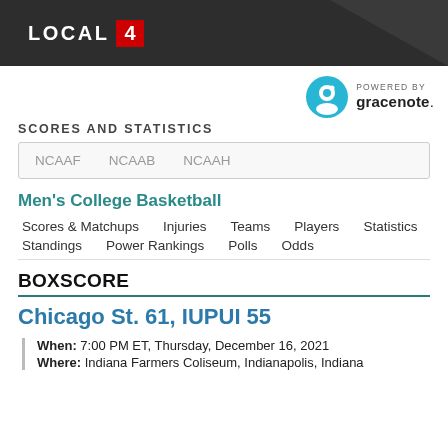LOCAL 4
[Figure (logo): Gracenote logo - blue circle with G icon, POWERED BY gracenote. text]
SCORES AND STATISTICS
NCAAF   NCAAB   NCAAH
Men's College Basketball
Scores & Matchups   Injuries   Teams   Players   Statistics   Standings   Power Rankings   Polls   Odds
BOXSCORE
Chicago St. 61, IUPUI 55
When: 7:00 PM ET, Thursday, December 16, 2021
Where: Indiana Farmers Coliseum, Indianapolis, Indiana